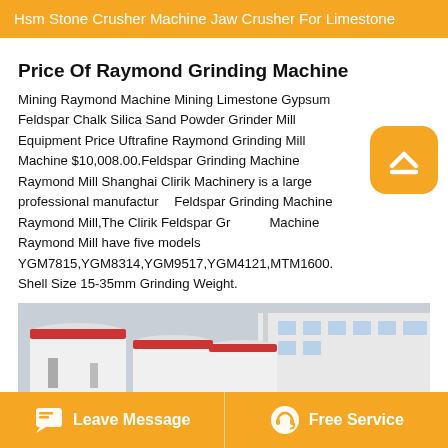Hsm Stone Crusher Machine Jaw Crusher For Limestone
Price Of Raymond Grinding Machine
Mining Raymond Machine Mining Limestone Gypsum Feldspar Chalk Silica Sand Powder Grinder Mill Equipment Price Uftrafine Raymond Grinding Mill Machine $10,008.00.Feldspar Grinding Machine Raymond Mill Shanghai Clirik Machinery is a large professional manufacturer Feldspar Grinding Machine Raymond Mill,The Clirik Feldspar Grinding Machine Raymond Mill have five models YGM7815,YGM8314,YGM9517,YGM4121,MTM1600. Shell Size 15-35mm Grinding Weight.
[Figure (photo): Industrial grinding/milling machines (Raymond mills) parked outside a facility building with red-trimmed white cylindrical structures]
Leave Message   Free Service